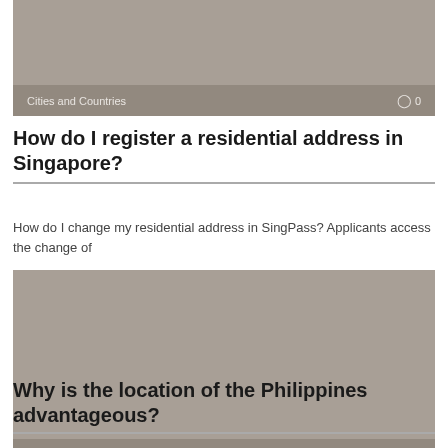[Figure (photo): Gray placeholder image with 'Cities and Countries' label and comment count 0 overlay at bottom]
How do I register a residential address in Singapore?
How do I change my residential address in SingPass? Applicants access the change of
[Figure (photo): Gray placeholder image with 'Cities and Countries' label and comment count 0 overlay at bottom]
Why is the location of the Philippines advantageous?